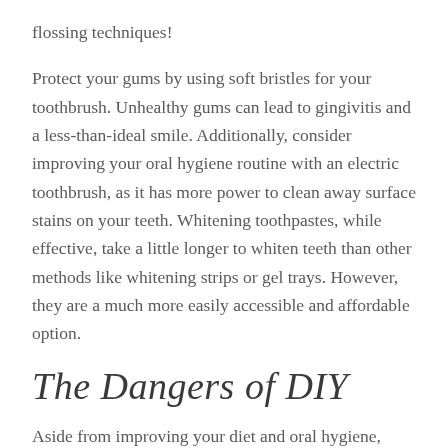flossing techniques!
Protect your gums by using soft bristles for your toothbrush. Unhealthy gums can lead to gingivitis and a less-than-ideal smile. Additionally, consider improving your oral hygiene routine with an electric toothbrush, as it has more power to clean away surface stains on your teeth. Whitening toothpastes, while effective, take a little longer to whiten teeth than other methods like whitening strips or gel trays. However, they are a much more easily accessible and affordable option.
The Dangers of DIY
Aside from improving your diet and oral hygiene, many people attempt at-home and DIY teeth whitening methods. These methods can be effective if done